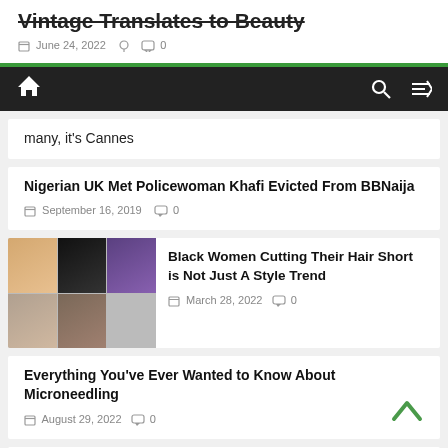Vintage Translates to Beauty
June 24, 2022   0
Home | Search | Shuffle
many, it's Cannes
Nigerian UK Met Policewoman Khafi Evicted From BBNaija
September 16, 2019   0
[Figure (photo): Grid of four photos of Black women with short hair styles]
Black Women Cutting Their Hair Short is Not Just A Style Trend
March 28, 2022   0
Everything You've Ever Wanted to Know About Microneedling
August 29, 2022   0
The Best Products To Slay Your Edges This Summer